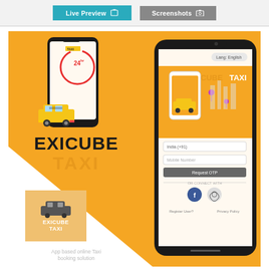[Figure (screenshot): Top bar with Live Preview and Screenshots buttons]
[Figure (illustration): Banner showing EXICUBE TAXI app promotion with yellow taxi, phone mockup showing 24hr service, EXICUBE TAXI logo box, and right side phone screenshot of the app login screen. Text: EXICUBE TAXI in bold black and orange. Bottom caption: App based online Taxi booking solution]